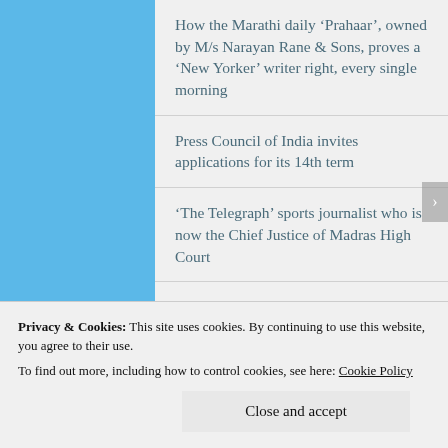How the Marathi daily ‘Prahaar’, owned by M/s Narayan Rane & Sons, proves a ‘New Yorker’ writer right, every single morning
Press Council of India invites applications for its 14th term
‘The Telegraph’ sports journalist who is now the Chief Justice of Madras High Court
Simple: Presbyterians (7,6)
Dr R. Krishnamurthy, the scholar and
Privacy & Cookies: This site uses cookies. By continuing to use this website, you agree to their use.
To find out more, including how to control cookies, see here: Cookie Policy
Close and accept